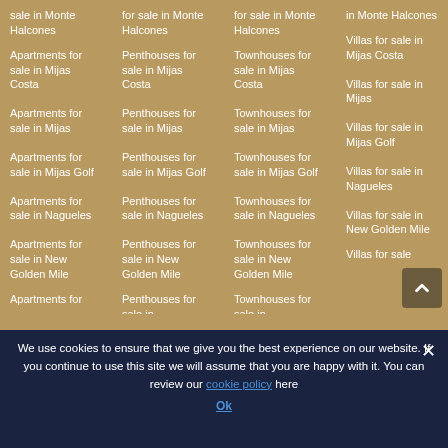Apartments for sale in Monte Halcones
Penthouses for sale in Monte Halcones
Townhouses for sale in Monte Halcones
Villas for sale in Monte Halcones
Apartments for sale in Mijas Costa
Penthouses for sale in Mijas Costa
Townhouses for sale in Mijas Costa
Villas for sale in Mijas Costa
Apartments for sale in Mijas
Penthouses for sale in Mijas
Townhouses for sale in Mijas
Villas for sale in Mijas
Apartments for sale in Mijas Golf
Penthouses for sale in Mijas Golf
Townhouses for sale in Mijas Golf
Villas for sale in Mijas Golf
Apartments for sale in Nagueles
Penthouses for sale in Nagueles
Townhouses for sale in Nagueles
Villas for sale in Nagueles
Apartments for sale in New Golden Mile
Penthouses for sale in New Golden Mile
Townhouses for sale in New Golden Mile
Villas for sale in New Golden Mile
Apartments for sale in (partial)
Penthouses for sale in (partial)
Townhouses for sale in (partial)
Villas for sale (partial)
We use cookies to ensure that we give you the best experience on our website. If you continue to use this site we will assume that you are happy with it. You can review our cookie policy here
Ok